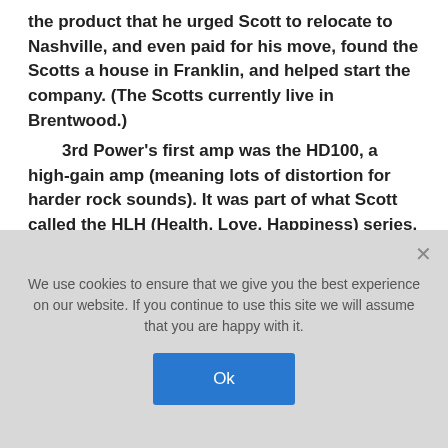the product that he urged Scott to relocate to Nashville, and even paid for his move, found the Scotts a house in Franklin, and helped start the company. (The Scotts currently live in Brentwood.) 3rd Power's first amp was the HD100, a high-gain amp (meaning lots of distortion for harder rock sounds). It was part of what Scott called the HLH (Health, Love, Happiness) series. Soon, he was working on amps with names like American Dream, British Dream, and Dream Weaver, which focused on cleaner sounds. For several years he ran the company out of his home. But one day, Jimmy Erosh, who runs the custom road case
We use cookies to ensure that we give you the best experience on our website. If you continue to use this site we will assume that you are happy with it.